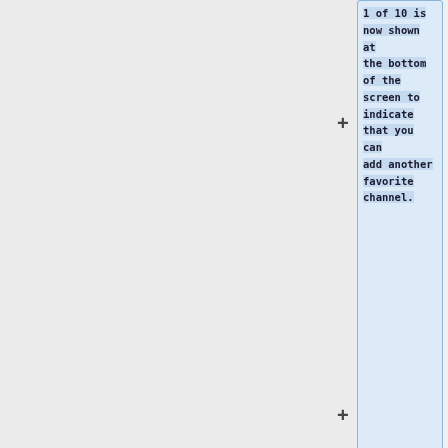1 of 10 is now shown at the bottom of the screen to indicate that you can add another favorite channel.
* To add another favorite channel, then again press a channel number key on the remote, choose a channel.